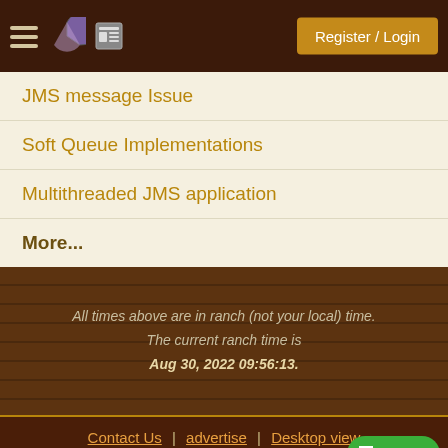Register / Login
JMS message Issue
Soft Queue Implementations
Multithreaded JMS application
More...
All times above are in ranch (not your local) time. The current ranch time is Aug 30, 2022 09:56:13.
Contact Us | advertise | Desktop view
Copyright © 1998-2022 paul wheaton , m...